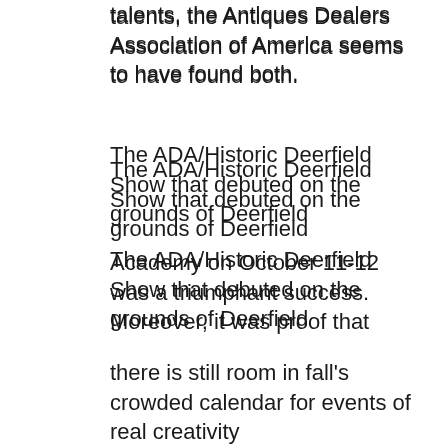talents, the Antiques Dealers Association of America seems to have found both.
The ADA/Historic Deerfield Show that debuted on the grounds of Deerfield
Academy on October 11-12 was a triumphant success. Moreover, it was proof that
there is still room in fall's crowded calendar for events of real creativity
and ambition.
An unsurpassed artistic achievement, the 47-dealer fair showed promising signs
of being a commercial one as well. "Everyone was delighted," said Olde Hope